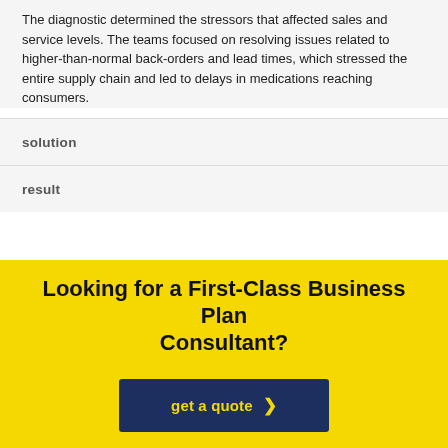The diagnostic determined the stressors that affected sales and service levels. The teams focused on resolving issues related to higher-than-normal back-orders and lead times, which stressed the entire supply chain and led to delays in medications reaching consumers.
solution
result
Looking for a First-Class Business Plan Consultant?
get a quote >